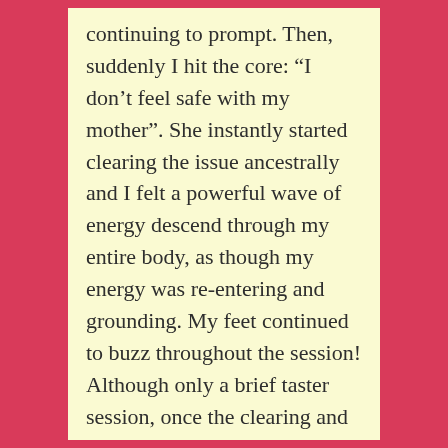continuing to prompt. Then, suddenly I hit the core: “I don’t feel safe with my mother”. She instantly started clearing the issue ancestrally and I felt a powerful wave of energy descend through my entire body, as though my energy was re-entering and grounding. My feet continued to buzz throughout the session! Although only a brief taster session, once the clearing and activations were complete, I felt instantly